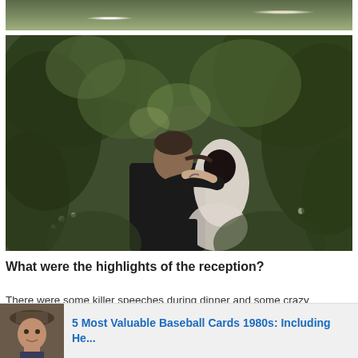[Figure (photo): Top portion of a wedding/outdoor photo showing people in dark clothing and white dress against green foliage background — cropped, only bottom strip visible]
[Figure (photo): Outdoor wedding photo of a couple kissing and embracing, man in dark suit and woman in white dress, surrounded by lush green trees and foliage]
What were the highlights of the reception?
There were some killer speeches during dinner and some crazy dancing. Michael and I had heaps of fun dancing the night away! It was just lots and lots of fun as the week had been buildi
[Figure (photo): Advertisement thumbnail showing a man's portrait photo]
5 Most Valuable Baseball Cards 1980s: Including He...